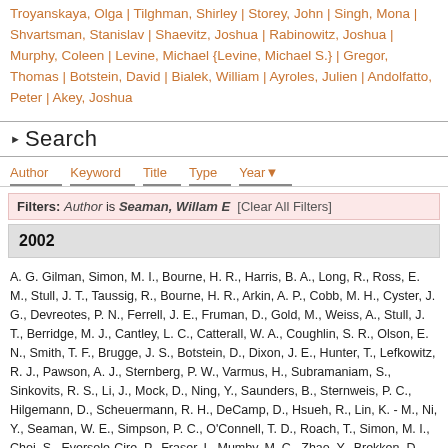Troyanskaya, Olga | Tilghman, Shirley | Storey, John | Singh, Mona | Shvartsman, Stanislav | Shaevitz, Joshua | Rabinowitz, Joshua | Murphy, Coleen | Levine, Michael {Levine, Michael S.} | Gregor, Thomas | Botstein, David | Bialek, William | Ayroles, Julien | Andolfatto, Peter | Akey, Joshua
Search
Author | Keyword | Title | Type | Year
Filters: Author is Seaman, Willam E [Clear All Filters]
2002
A. G. Gilman, Simon, M. I., Bourne, H. R., Harris, B. A., Long, R., Ross, E. M., Stull, J. T., Taussig, R., Bourne, H. R., Arkin, A. P., Cobb, M. H., Cyster, J. G., Devreotes, P. N., Ferrell, J. E., Fruman, D., Gold, M., Weiss, A., Stull, J. T., Berridge, M. J., Cantley, L. C., Catterall, W. A., Coughlin, S. R., Olson, E. N., Smith, T. F., Brugge, J. S., Botstein, D., Dixon, J. E., Hunter, T., Lefkowitz, R. J., Pawson, A. J., Sternberg, P. W., Varmus, H., Subramaniam, S., Sinkovits, R. S., Li, J., Mock, D., Ning, Y., Saunders, B., Sternweis, P. C., Hilgemann, D., Scheuermann, R. H., DeCamp, D., Hsueh, R., Lin, K. - M., Ni, Y., Seaman, W. E., Simpson, P. C., O'Connell, T. D., Roach, T., Simon, M. I., Choi, S., Eversole-Cire, P., Fraser, I., Mumby, M. C., Zhao, Y., Brekken, D., Shu, H., Meyer, T., Chandy, G.